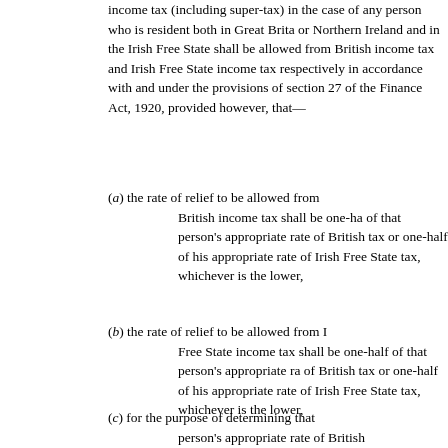income tax (including super-tax) in the case of any person who is resident both in Great Britain or Northern Ireland and in the Irish Free State shall be allowed from British income tax and Irish Free State income tax respectively in accordance with and under the provisions of section 27 of the Finance Act, 1920, provided however, that—
(a) the rate of relief to be allowed from British income tax shall be one-half of that person's appropriate rate of British tax or one-half of his appropriate rate of Irish Free State tax, whichever is the lower,
(b) the rate of relief to be allowed from Irish Free State income tax shall be one-half of that person's appropriate rate of British tax or one-half of his appropriate rate of Irish Free State tax, whichever is the lower,
(c) for the purpose of determining that person's appropriate rate of British tax or of Irish Free State tax,